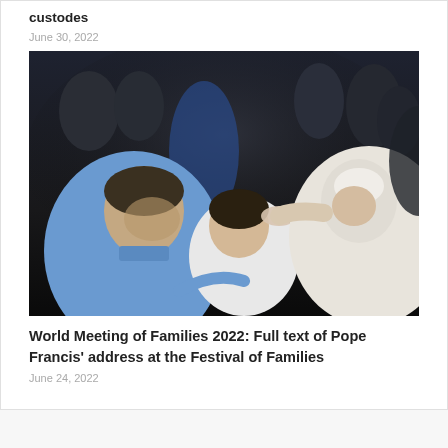custodes
June 30, 2022
[Figure (photo): Pope Francis reaching out to touch the head of a woman seated between a man in a blue shirt and the Pope, both leaning toward her in an emotional moment at a large gathering event. Other attendees are visible in the background.]
World Meeting of Families 2022: Full text of Pope Francis' address at the Festival of Families
June 24, 2022